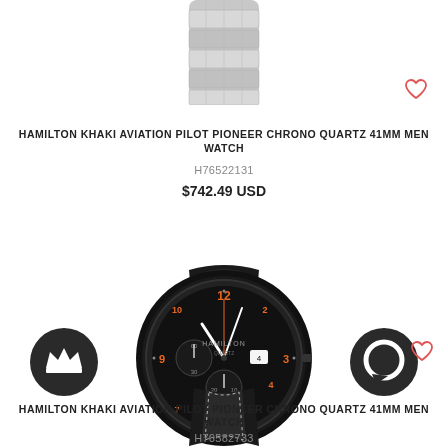[Figure (photo): Partial view of a silver metal bracelet watch (cropped at top)]
HAMILTON KHAKI AVIATION PILOT PIONEER CHRONO QUARTZ 41MM MEN WATCH
H76522131
$742.49 USD
[Figure (photo): Hamilton Khaki Aviation Pilot Pioneer Chrono Quartz 41mm watch with black case, black leather strap with white stitching, black dial with orange numerals, and three sub-dials]
HAMILTON KHAKI AVIATION PILOT PIONEER CHRONO QUARTZ 41MM MEN WATCH
H76582733